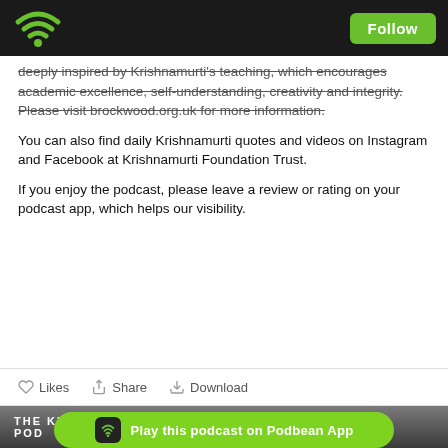Podbean app header with wifi logo and Follow button
deeply inspired by Krishnamurti's teaching, which encourages academic excellence, self-understanding, creativity and integrity. Please visit brockwood.org.uk for more information.
You can also find daily Krishnamurti quotes and videos on Instagram and Facebook at Krishnamurti Foundation Trust.
If you enjoy the podcast, please leave a review or rating on your podcast app, which helps our visibility.
Likes  Share  Download
[Figure (screenshot): The Krishnamurti Podcast thumbnail image at the bottom, with Podbean App banner overlay]